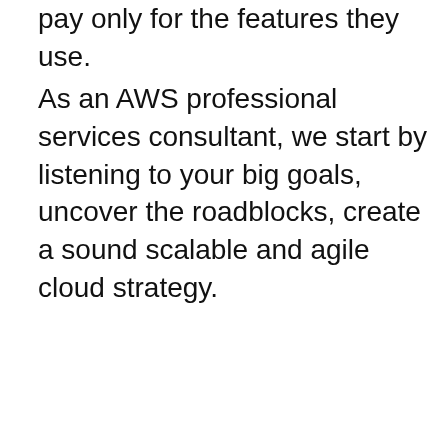pay only for the features they use.
As an AWS professional services consultant, we start by listening to your big goals, uncover the roadblocks, create a sound scalable and agile cloud strategy.
[Figure (illustration): Orange circular accessibility icon showing a person figure inside an orange circle]
osite stores cookies on your computer. These cookies are used to improve your website experience and provide more personalized services to you, both on this website and through other media. To find out more about the cookies we use, see our Privacy Policy.
We won't track your information when you visit our site. But in order to comply with your preferences, we'll have to use just one tiny cookie so that you're not asked to make this choice again.
Accept
Decline